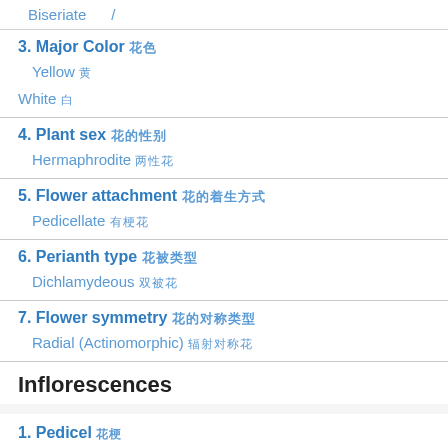Biseriate /
3. Major Color 花色
Yellow 黄
White 白
4. Plant sex 花的性别
Hermaphrodite 两性花
5. Flower attachment 花的着生方式
Pedicellate 有梗花
6. Perianth type 花被类型
Dichlamydeous 双被花
7. Flower symmetry 花的对称类型
Radial (Actinomorphic) 辐射对称花
Inflorescences
1. Pedicel 花梗
Indumentum 毛被
Glabrous 无毛
2. Position 位置